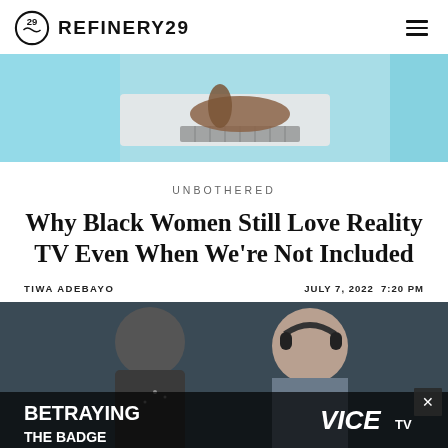REFINERY29
[Figure (photo): Hero image showing a person's hand on a laptop keyboard, with teal/mint colored fabric visible, cropped from above]
UNBOTHERED
Why Black Women Still Love Reality TV Even When We're Not Included
TIWA ADEBAYO   JULY 7, 2022 7:20 PM
[Figure (photo): Advertisement image showing two people in black and white, with overlay text reading BETRAYING THE BADGE and VICE TV logo. Close button X visible in top right corner.]